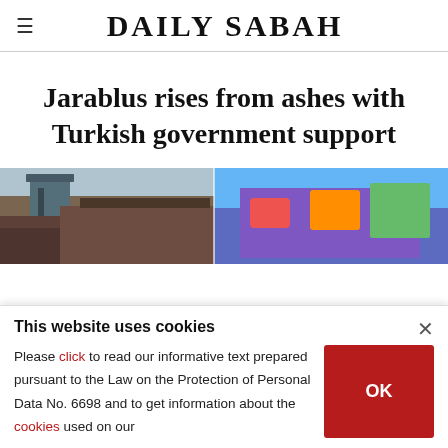DAILY SABAH
Jarablus rises from ashes with Turkish government support
[Figure (photo): Two-panel photo showing Jarablus: left panel shows damaged/makeshift rooftop structures with a water tower, right panel shows a colorfully painted wall/mural with Arabic script and decorative imagery against a blue sky.]
This website uses cookies
Please click to read our informative text prepared pursuant to the Law on the Protection of Personal Data No. 6698 and to get information about the cookies used on our